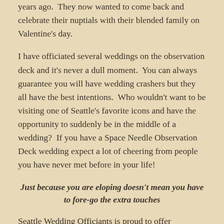years ago.  They now wanted to come back and celebrate their nuptials with their blended family on Valentine's day.
I have officiated several weddings on the observation deck and it's never a dull moment.  You can always guarantee you will have wedding crashers but they all have the best intentions.  Who wouldn't want to be visiting one of Seattle's favorite icons and have the opportunity to suddenly be in the middle of a wedding?  If you have a Space Needle Observation Deck wedding expect a lot of cheering from people you have never met before in your life!
Just because you are eloping doesn't mean you have to fore-go the extra touches
Seattle Wedding Officiants is proud to offer the extra touches for all wedding ceremonies.